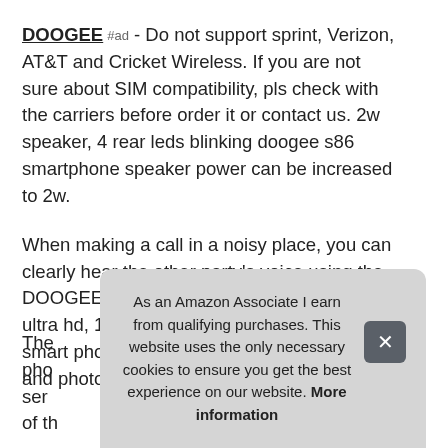DOOGEE #ad - Do not support sprint, Verizon, AT&T and Cricket Wireless. If you are not sure about SIM compatibility, pls check with the carriers before order it or contact us. 2w speaker, 4 rear leds blinking doogee s86 smartphone speaker power can be increased to 2w.
When making a call in a noisy place, you can clearly hear the other party's voice using the DOOGEE S86 rugged mobile phone. 108mp ultra hd, 16mp quad camera the doogee s86 smart phone camera has an ultra hd mode, and photos can reach 108MP quality.
The
pho
ser
of the
As an Amazon Associate I earn from qualifying purchases. This website uses the only necessary cookies to ensure you get the best experience on our website. More information